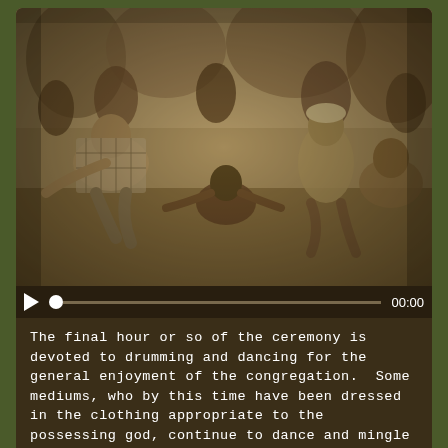[Figure (photo): Sepia-toned black and white photograph showing African people dancing and drumming at a ceremony. Several figures are in dynamic dance poses, some wearing traditional clothing including checkered fabric. The scene appears to be outdoors.]
The final hour or so of the ceremony is devoted to drumming and dancing for the general enjoyment of the congregation.  Some mediums, who by this time have been dressed in the clothing appropriate to the possessing god, continue to dance and mingle with the congregation. Others remain inside the shrine house in consultation with the ofe